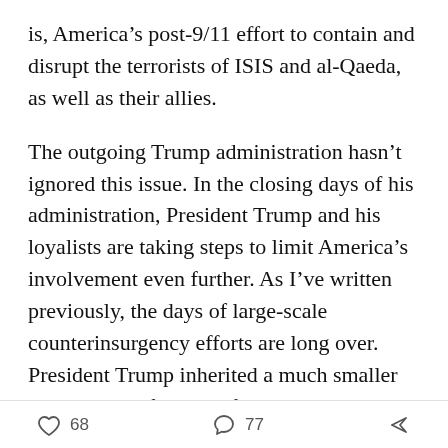is, America's post-9/11 effort to contain and disrupt the terrorists of ISIS and al-Qaeda, as well as their allies.
The outgoing Trump administration hasn't ignored this issue. In the closing days of his administration, President Trump and his loyalists are taking steps to limit America's involvement even further. As I've written previously, the days of large-scale counterinsurgency efforts are long over. President Trump inherited a much smaller U.S. military footprint from President Obama than the one President Bush bequeathed to Obama. Today, that footprint is even smaller, with fewer than than 10,000 U.S. servicemembers stationed in Afghanistan, Iraq, and Syria, plus another small contingent in Africa. If Trump
68   77